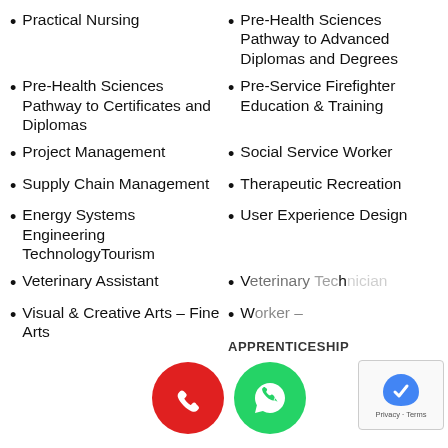Practical Nursing
Pre-Health Sciences Pathway to Advanced Diplomas and Degrees
Pre-Health Sciences Pathway to Certificates and Diplomas
Pre-Service Firefighter Education & Training
Project Management
Social Service Worker
Supply Chain Management
Therapeutic Recreation
Energy Systems Engineering TechnologyTourism
User Experience Design
Veterinary Assistant
Veterinary Technician (partially obscured)
Visual & Creative Arts – Fine Arts
Worker – APPRENTICESHIP (partially obscured)